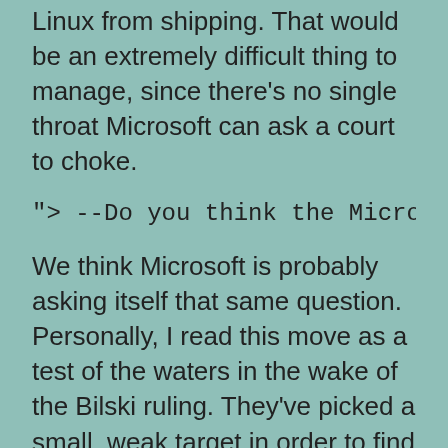Linux from shipping. That would be an extremely difficult thing to manage, since there's no single throat Microsoft can ask a court to choke.
"> --Do you think the Microsoft pat
We think Microsoft is probably asking itself that same question. Personally, I read this move as a test of the waters in the wake of the Bilski ruling. They've picked a small, weak target in order to find out whether software patents still actually work, which is a bit questionable at this point.